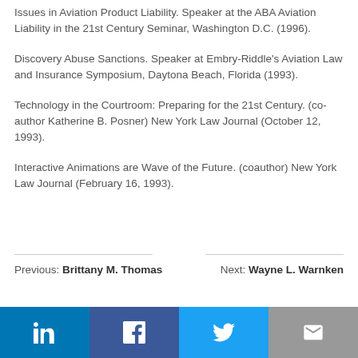Issues in Aviation Product Liability. Speaker at the ABA Aviation Liability in the 21st Century Seminar, Washington D.C. (1996).
Discovery Abuse Sanctions. Speaker at Embry-Riddle's Aviation Law and Insurance Symposium, Daytona Beach, Florida (1993).
Technology in the Courtroom: Preparing for the 21st Century. (co-author Katherine B. Posner) New York Law Journal (October 12, 1993).
Interactive Animations are Wave of the Future. (coauthor) New York Law Journal (February 16, 1993).
Previous: Brittany M. Thomas   Next: Wayne L. Warnken